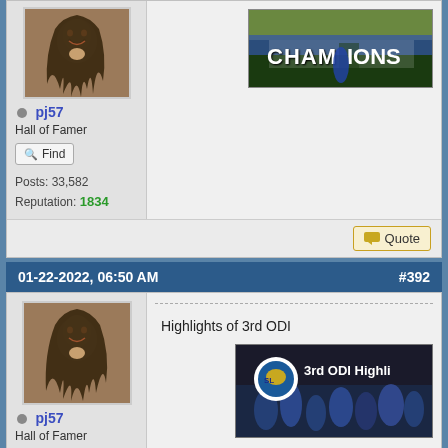[Figure (photo): User avatar showing a person with long dreadlocks smiling]
pj57
Hall of Famer
Find
Posts: 33,582
Reputation: 1834
[Figure (photo): Cricket champions celebration photo with CHAMPIONS text overlay]
Quote
01-22-2022, 06:50 AM   #392
[Figure (photo): User avatar showing a person with long dreadlocks smiling]
pj57
Hall of Famer
Highlights of 3rd ODI
[Figure (photo): Sri Lanka Cricket 3rd ODI Highlights video thumbnail with players]